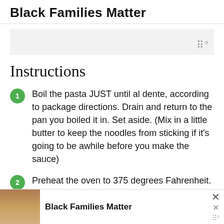Black Families Matter
[Figure (other): Gray placeholder image bar with wireframe icon at right]
Instructions
Boil the pasta JUST until al dente, according to package directions. Drain and return to the pan you boiled it in. Set aside. (Mix in a little butter to keep the noodles from sticking if it's going to be awhile before you make the sauce)
Preheat the oven to 375 degrees Fahrenheit.
To a medium saucepan over medium heat, add the butter. When the butter has melted...
[Figure (photo): Advertisement banner: photo of smiling Black family, bold text Black Families Matter, close X button and wireframe icon]